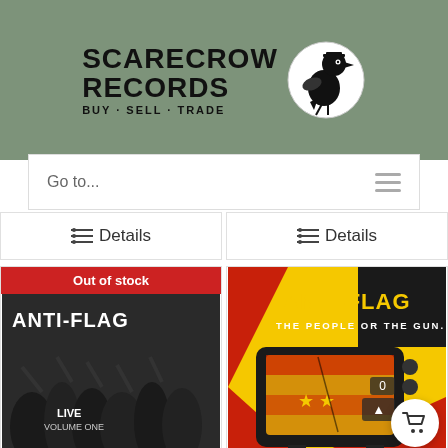[Figure (logo): Scarecrow Records logo with crow/bird illustration and text 'SCARECROW RECORDS BUY - SELL - TRADE']
Go to...
☰ Details
☰ Details
[Figure (photo): Anti-Flag Live Volume One album cover - black and white photo of crowd at concert, with 'Out of stock' red banner overlay]
[Figure (photo): Anti-Flag The People or the Gun album cover - colorful graphic of a TV set with red/yellow/black design and Anti-Flag logo]
ANTI-FLAG | Live...
ANTI-FLAG | the...